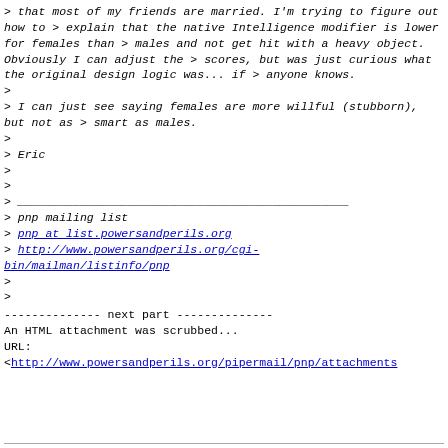> that most of my friends are married.  I'm trying to figure out how to
> explain that the native Intelligence modifier is lower for females than
> males and not get hit with a heavy object.  Obviously I can adjust the
> scores, but was just curious what the original design logic was... if
> anyone knows.
>
> I can just see saying females are more willful (stubborn), but not as
> smart as males.
>
> Eric
>
>
> ________________________________________________
> pnp mailing list
> pnp at list.powersandperils.org
> http://www.powersandperils.org/cgi-bin/mailman/listinfo/pnp
>
>
-------------- next part --------------
An HTML attachment was scrubbed...
URL:
<http://www.powersandperils.org/pipermail/pnp/attachments...